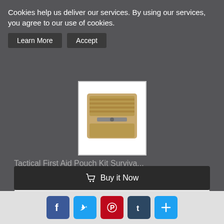Cookies help us deliver our services. By using our services, you agree to our use of cookies.
Learn More | Accept
[Figure (photo): Tactical First Aid Pouch Kit product image - tan/coyote colored MOLLE pouch]
Tactical First Aid Pouch Kit Surviva...
Various Prices
Buy it Now | New with tags | 19 Day(s) 16 h(s) | Worldwide | 1 day | Easy Returns
Buy it Now
Social share buttons: Facebook, Twitter, Pinterest, Tumblr, Plus